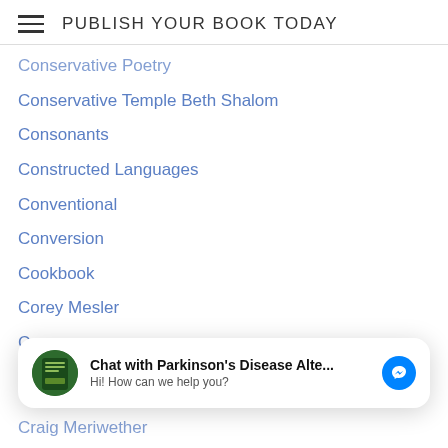PUBLISH YOUR BOOK TODAY
Conservative Poetry
Conservative Temple Beth Shalom
Consonants
Constructed Languages
Conventional
Conversion
Cookbook
Corey Mesler
Cornea
Cornish (Cornwall)
Corona Virus
Corporate Brat
Cortex
Council On Library And Information Resources
[Figure (other): Chat overlay popup: avatar image (green circular book cover), bold text 'Chat with Parkinson's Disease Alte...', subtitle 'Hi! How can we help you?', blue Messenger icon button]
Crafts
Craig Meriwether